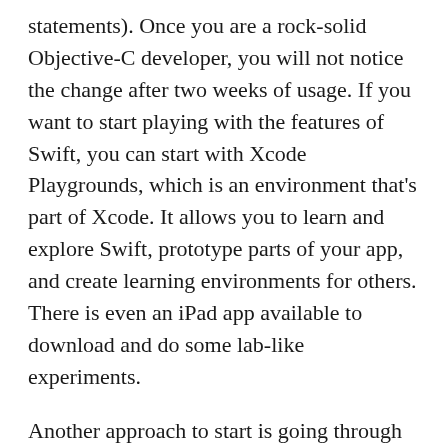statements). Once you are a rock-solid Objective-C developer, you will not notice the change after two weeks of usage. If you want to start playing with the features of Swift, you can start with Xcode Playgrounds, which is an environment that's part of Xcode. It allows you to learn and explore Swift, prototype parts of your app, and create learning environments for others. There is even an iPad app available to download and do some lab-like experiments.
Another approach to start is going through the Apple book and